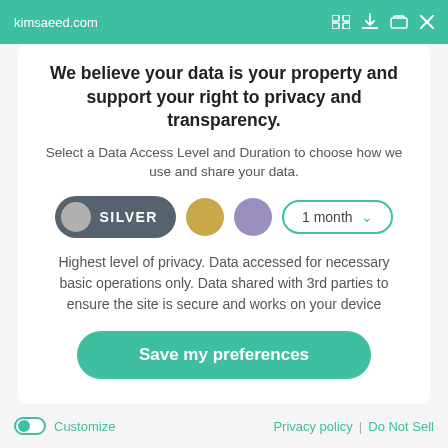kimsaeed.com
We believe your data is your property and support your right to privacy and transparency.
Select a Data Access Level and Duration to choose how we use and share your data.
[Figure (infographic): Privacy level selector with Silver pill button (selected), gold dot, purple dot, and 1 month dropdown]
Highest level of privacy. Data accessed for necessary basic operations only. Data shared with 3rd parties to ensure the site is secure and works on your device
Save my preferences
Customize   Privacy policy  |  Do Not Sell